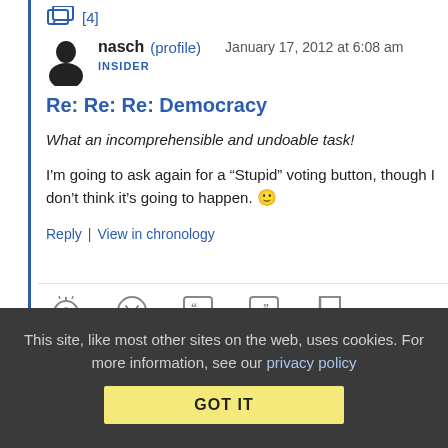[Figure (other): Comment thread icon with count badge [4]]
nasch (profile)   January 17, 2012 at 6:08 am
INSIDER
Re: Re: Re: Democracy
What an incomprehensible and undoable task!
I'm going to ask again for a “Stupid” voting button, though I don’t think it’s going to happen. 🙂
Reply | View in chronology
[Figure (other): Reaction icons row: lightbulb, laughing emoji, quote left, quote right, flag]
This site, like most other sites on the web, uses cookies. For more information, see our privacy policy
GOT IT